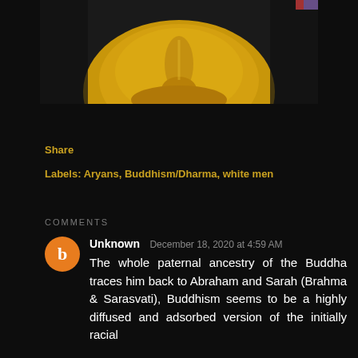[Figure (photo): Close-up photo of a golden Buddha statue face/head from below, showing the nose and chin area with golden coloring]
Share
Labels: Aryans, Buddhism/Dharma, white men
COMMENTS
Unknown  December 18, 2020 at 4:59 AM
The whole paternal ancestry of the Buddha traces him back to Abraham and Sarah (Brahma & Sarasvati), Buddhism seems to be a highly diffused and adsorbed version of the initially racial...